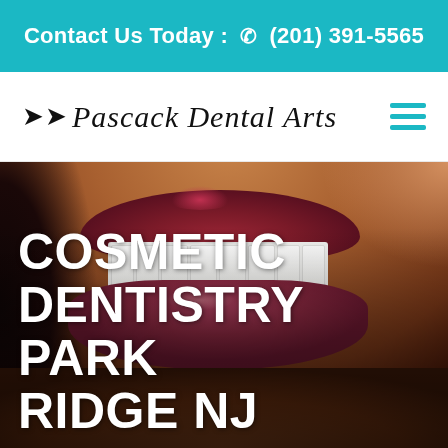Contact Us Today : (201) 391-5565
[Figure (logo): Pascack Dental Arts logo with decorative script font and wing-like ornament]
[Figure (photo): Close-up photo of a woman smiling with bright white teeth, warm skin tone and dark hair]
COSMETIC DENTISTRY PARK RIDGE NJ